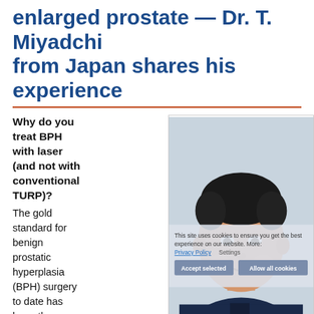enlarged prostate — Dr. T. Miyadchi from Japan shares his experience
Why do you treat BPH with laser (and not with conventional TURP)? The gold standard for benign prostatic hyperplasia (BPH) surgery to date has been the Transurethral Resection of the
[Figure (photo): Portrait photo of Dr. T. Miyadchi, a Japanese doctor wearing dark blue scrubs, smiling at the camera. A cookie consent banner overlay is visible across the middle of the image with text 'This site uses cookies to ensure you get the best experience on our website. More: Privacy Policy   Settings' and buttons 'Accept selected' and 'Allow all cookies'.]